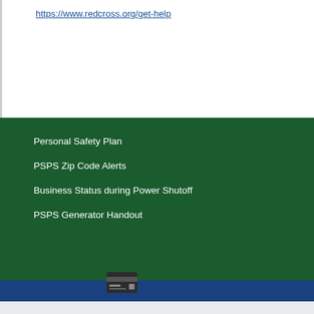https://www.redcross.org/get-help
Personal Safety Plan
PSPS Zip Code Alerts
Business Status during Power Shutoff
PSPS Generator Handout
[Figure (illustration): Credit card icon (rectangle with horizontal lines suggesting a payment card)]